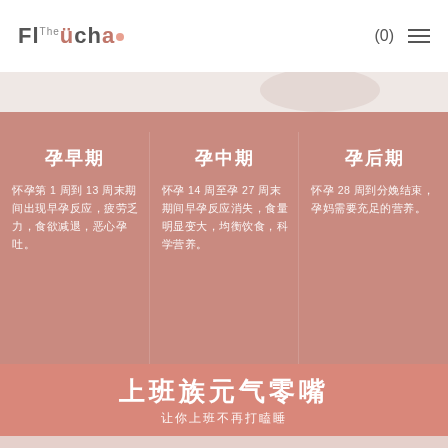Flücha (0) ≡
[Figure (photo): Partial photo of a person lying in bed, soft light background, white bedding visible]
孕早期 | 孕中期 | 孕后期
怀孕第1周到13周末期间出现早孕反应，疲劳乏力，食欲减退，恶心孕吐。
怀孕14周至孕27周末期间早孕反应消失，食量明显变大，均衡饮食，科学营养。
怀孕28周到分娩结束，孕妈需要充足的营养。
上班族元气零嘴
让你上班不再打瞌睡
[Figure (photo): Bottom strip showing partial product images]